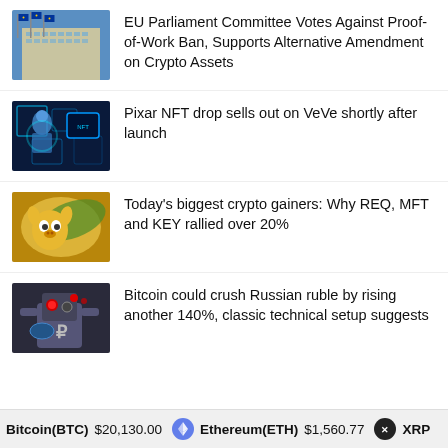[Figure (photo): EU Parliament building with flags]
EU Parliament Committee Votes Against Proof-of-Work Ban, Supports Alternative Amendment on Crypto Assets
[Figure (illustration): Pixar character in digital/NFT themed scene with glowing blue elements]
Pixar NFT drop sells out on VeVe shortly after launch
[Figure (illustration): Animated character with crypto/financial themed background, yellow and green colors]
Today's biggest crypto gainers: Why REQ, MFT and KEY rallied over 20%
[Figure (illustration): Robot/mech character with Russian ruble symbol, red and grey tones]
Bitcoin could crush Russian ruble by rising another 140%, classic technical setup suggests
Bitcoin(BTC) $20,130.00   Ethereum(ETH) $1,560.77   XRP